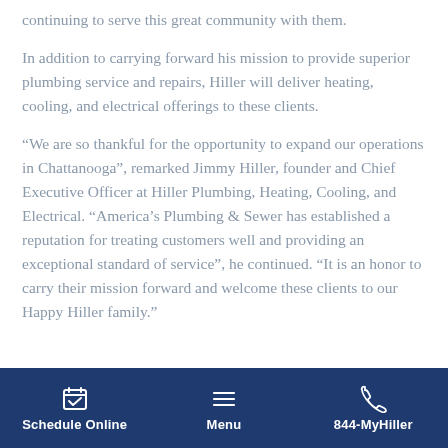continuing to serve this great community with them.
In addition to carrying forward his mission to provide superior plumbing service and repairs, Hiller will deliver heating, cooling, and electrical offerings to these clients.
“We are so thankful for the opportunity to expand our operations in Chattanooga”, remarked Jimmy Hiller, founder and Chief Executive Officer at Hiller Plumbing, Heating, Cooling, and Electrical. “America’s Plumbing & Sewer has established a reputation for treating customers well and providing an exceptional standard of service”, he continued. “It is an honor to carry their mission forward and welcome these clients to our Happy Hiller family.”
Schedule Online | Menu | 844-MyHiller